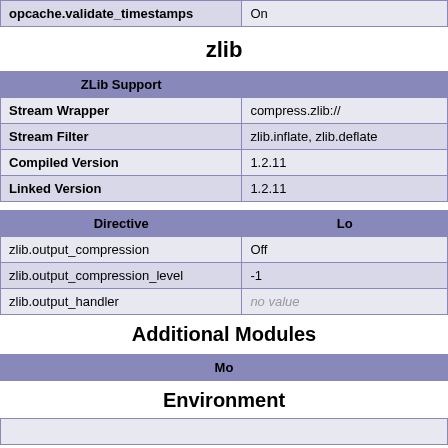| opcache.validate_timestamps | On |
| --- | --- |
zlib
| ZLib Support |  |
| --- | --- |
| Stream Wrapper | compress.zlib:// |
| Stream Filter | zlib.inflate, zlib.deflate |
| Compiled Version | 1.2.11 |
| Linked Version | 1.2.11 |
| Directive | Lo |
| --- | --- |
| zlib.output_compression | Off |
| zlib.output_compression_level | -1 |
| zlib.output_handler | no value |
Additional Modules
| Mo |
| --- |
Environment